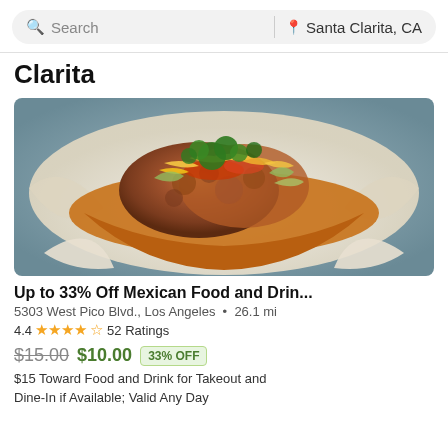Search | Santa Clarita, CA
Clarita
[Figure (photo): Photo of Mexican food - tacos/fried chicken in a white paper wrapper bowl with cheese, salsa, and parsley garnish]
Up to 33% Off Mexican Food and Drin...
5303 West Pico Blvd., Los Angeles • 26.1 mi
4.4 ★★★★½ 52 Ratings
$15.00 $10.00 33% OFF
$15 Toward Food and Drink for Takeout and Dine-In if Available; Valid Any Day